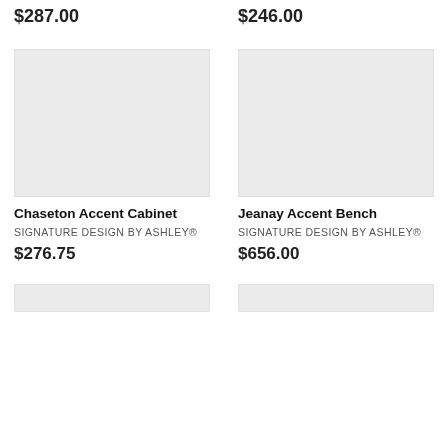$287.00
$246.00
[Figure (photo): Product image placeholder for Chaseton Accent Cabinet]
[Figure (photo): Product image placeholder for Jeanay Accent Bench]
Chaseton Accent Cabinet
SIGNATURE DESIGN BY ASHLEY®
$276.75
Jeanay Accent Bench
SIGNATURE DESIGN BY ASHLEY®
$656.00
[Figure (photo): Product image placeholder bottom left]
[Figure (photo): Product image placeholder bottom right]